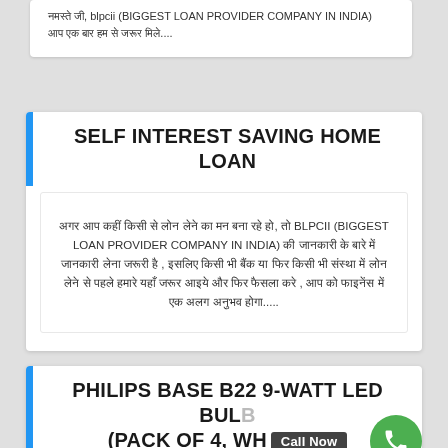नमस्ते जी, blpcii (BIGGEST LOAN PROVIDER COMPANY IN INDIA) आप एक बार हम से जरूर मिले....
SELF INTEREST SAVING HOME LOAN
अगर आप कहीं किसी से लोन लेने का मन बना रहे हो, तो BLPCII (BIGGEST LOAN PROVIDER COMPANY IN INDIA) की जानकारी के बारे में जानकारी लेना जरूरी है , इसलिए किसी भी बैंक या फिर किसी भी संस्था में लोन लेने से पहले हमारे यहाँ जरूर आइये और फिर फैसला करे , आप को फाइनेंस में एक अलग अनुभव होगा.....
PHILIPS BASE B22 9-WATT LED BULB (PACK OF 4, WHI...